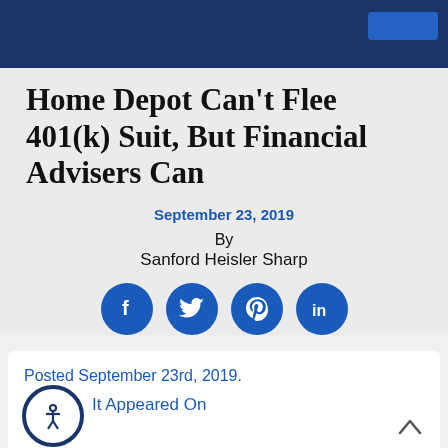Home Depot Can't Flee 401(k) Suit, But Financial Advisers Can
September 23, 2019
By
Sanford Heisler Sharp
[Figure (infographic): Four blue circular social media share buttons: Facebook, Twitter, Pinterest, LinkedIn]
Posted September 23rd, 2019.
It Appeared On